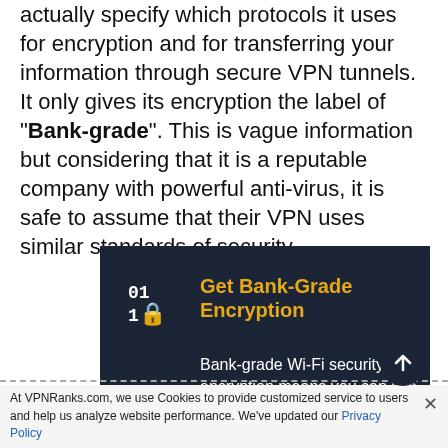actually specify which protocols it uses for encryption and for transferring your information through secure VPN tunnels. It only gives its encryption the label of "Bank-grade". This is vague information but considering that it is a reputable company with powerful anti-virus, it is safe to assume that their VPN uses similar standards of security.
[Figure (infographic): Dark navy blue promotional box with a binary/lock icon on the left, heading 'Get Bank-Grade Encryption' in gold/yellow, and body text 'Bank-grade Wi-Fi security encryption means you can use your Mac, PC or mobile device for secure' in white.]
At VPNRanks.com, we use Cookies to provide customized service to users and help us analyze website performance. We've updated our Privacy Policy